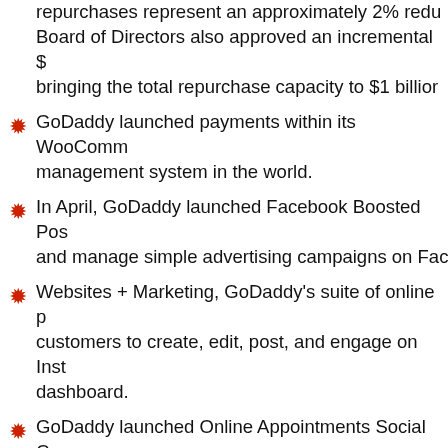repurchases represent an approximately 2% reduction. Board of Directors also approved an incremental $ bringing the total repurchase capacity to $1 billion
GoDaddy launched payments within its WooComm management system in the world.
In April, GoDaddy launched Facebook Boosted Pos and manage simple advertising campaigns on Fac
Websites + Marketing, GoDaddy's suite of online p customers to create, edit, post, and engage on Inst dashboard.
GoDaddy launched Online Appointments Social Co customers market their services and drive appoint media channels.
GoDaddy released Action Plan, embedding guidan which leverages data from millions of websites to p action.
GoDaddy launched a plugin bundle expansion fo